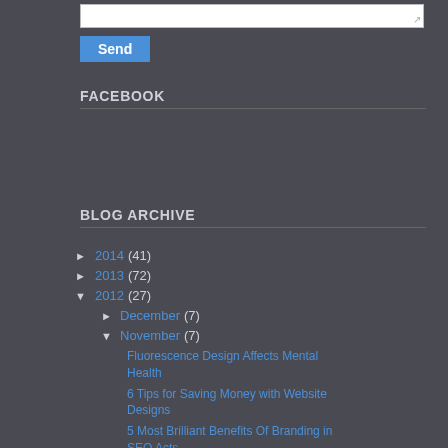[Figure (screenshot): Send button and textarea at top of page]
FACEBOOK
BLOG ARCHIVE
► 2014 (41)
► 2013 (72)
▼ 2012 (27)
► December (7)
▼ November (7)
Fluorescence Design Affects Mental Health
6 Tips for Saving Money with Website Designs
5 Most Brilliant Benefits Of Branding in SEO Acts